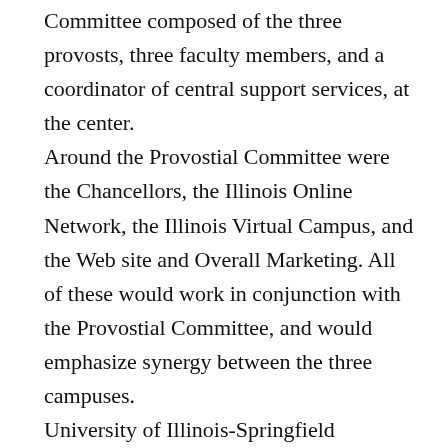Committee composed of the three provosts, three faculty members, and a coordinator of central support services, at the center. Around the Provostial Committee were the Chancellors, the Illinois Online Network, the Illinois Virtual Campus, and the Web site and Overall Marketing. All of these would work in conjunction with the Provostial Committee, and would emphasize synergy between the three campuses. University of Illinois-Springfield Chancellor Richard Ringeisen said that the budget requested for e-LI was $3.8 million over 3 to 5 years, helping to compensate for an anticipated 4,000 new students. Ringeisen said the primary goal was a “grass roots